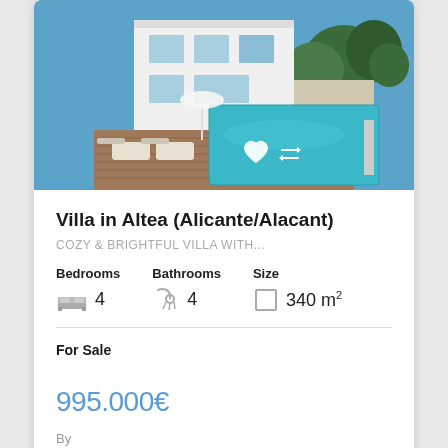[Figure (photo): Exterior photo of a white modern villa with swimming pool, wooden deck with lounge chairs, and sun umbrellas, surrounded by trees under a blue sky.]
Villa in Altea (Alicante/Alacant)
COZY & BRIGHTFUL VILLA WITH...
Bedrooms 4   Bathrooms 4   Size 340 m²
For Sale
995.000€
By
Reserve a viewing visit